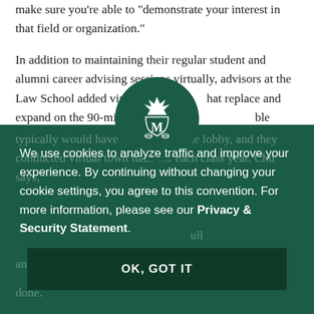make sure you're able to 'demonstrate your interest in that field or organization.'
In addition to maintaining their regular student and alumni career advising sessions virtually, advisors at the Law School added virtual office hours that replace and expand on the 90-minute, Monday through Friday, lobby sessions that typically would have been held in the lobby, and they conducted virtual town halls for each class year. Chu says,
[Figure (logo): William & Mary crown and cypher logo in white on dark green circle]
We use cookies to analyze traffic and improve your experience. By continuing without changing your cookie settings, you agree to this convention. For more information, please see our Privacy & Security Statement.
OK, GOT IT